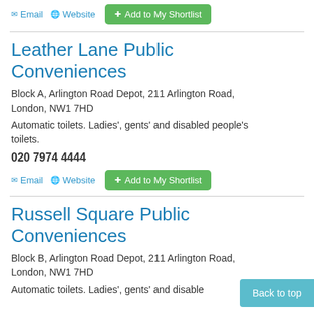Email  Website  Add to My Shortlist
Leather Lane Public Conveniences
Block A, Arlington Road Depot, 211 Arlington Road, London, NW1 7HD
Automatic toilets. Ladies', gents' and disabled people's toilets.
020 7974 4444
Email  Website  Add to My Shortlist
Russell Square Public Conveniences
Block B, Arlington Road Depot, 211 Arlington Road, London, NW1 7HD
Automatic toilets. Ladies', gents' and disable
Back to top